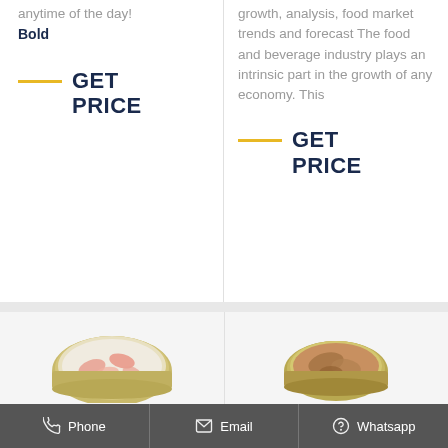anytime of the day! Bold
GET PRICE
growth, analysis, food market trends and forecast The food and beverage industry plays an intrinsic part in the growth of any economy. This
GET PRICE
[Figure (photo): Open can of seafood/shrimp product viewed from above]
[Figure (photo): Open can of meat/fish product viewed from above]
Phone   Email   Whatsapp